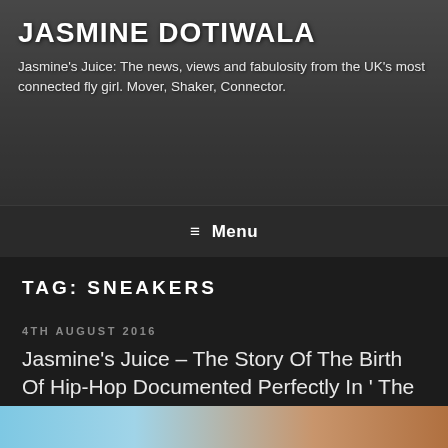JASMINE DOTIWALA
Jasmine's Juice: The news, views and fabulosity from the UK's most connected fly girl. Mover, Shaker, Connector.
≡ Menu
TAG: SNEAKERS
4TH AUGUST 2016
Jasmine's Juice – The Story Of The Birth Of Hip-Hop Documented Perfectly In ' The Get Down '.
#THEGETDOWN
[Figure (photo): Bottom strip showing a partial image, appears to be an outdoor/architectural scene with warm tones on the right and blue sky on the left]